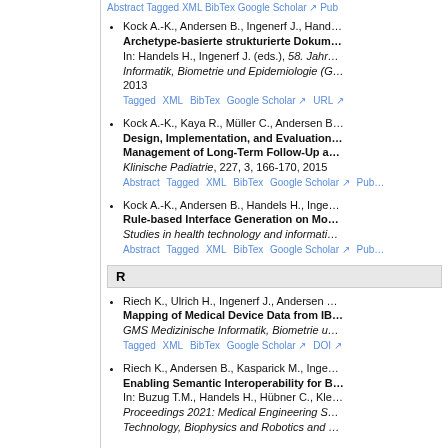Abstract Tagged XML BibTex Google Scholar Pub…
Kock A.-K., Andersen B., Ingenerf J., Hand… Archetype-basierte strukturierte Dokum… In: Handels H., Ingenerf J. (eds.), 58. Jahr… Informatik, Biometrie und Epidemiologie (G… 2013 Tagged XML BibTex Google Scholar URL
Kock A.-K., Kaya R., Müller C., Andersen B… Design, Implementation, and Evaluation… Management of Long-Term Follow-Up a… Klinische Padiatrie, 227, 3, 166-170, 2015 Abstract Tagged XML BibTex Google Scholar Pub…
Kock A.-K., Andersen B., Handels H., Inge… Rule-based Interface Generation on Mo… Studies in health technology and informati… Abstract Tagged XML BibTex Google Scholar Pub…
R
Riech K., Ulrich H., Ingenerf J., Andersen … Mapping of Medical Device Data from IB… GMS Medizinische Informatik, Biometrie u… Tagged XML BibTex Google Scholar DOI
Riech K., Andersen B., Kasparick M., Inge… Enabling Semantic Interoperability for B… In: Buzug T.M., Handels H., Hübner C., Kle… Proceedings 2021: Medical Engineering S… Technology, Biophysics and Robotics and …